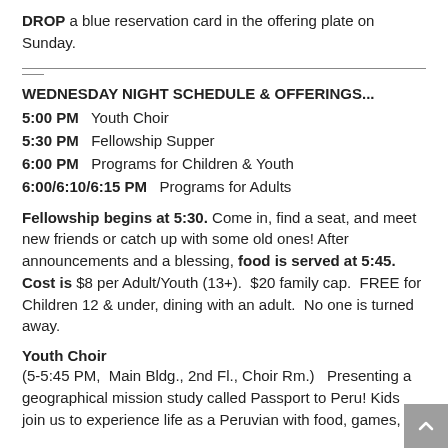DROP  a blue reservation card in the offering plate on Sunday.
WEDNESDAY NIGHT SCHEDULE & OFFERINGS...
5:00 PM   Youth Choir
5:30 PM   Fellowship Supper
6:00 PM   Programs for Children & Youth
6:00/6:10/6:15 PM   Programs for Adults
Fellowship begins at 5:30. Come in, find a seat, and meet new friends or catch up with some old ones! After announcements and a blessing, food is served at 5:45. Cost is $8 per Adult/Youth (13+).  $20 family cap.  FREE for Children 12 & under, dining with an adult.  No one is turned away.
Youth Choir
(5-5:45 PM,  Main Bldg., 2nd Fl., Choir Rm.)   Presenting a geographical mission study called Passport to Peru! Kids join us to experience life as a Peruvian with food, games,